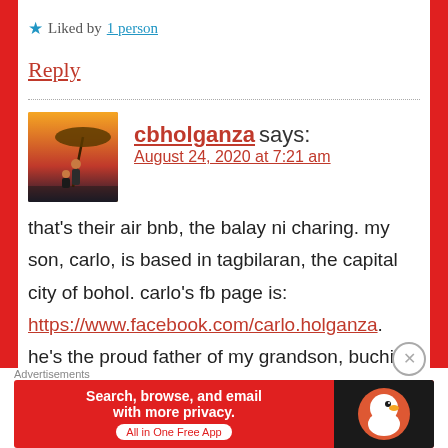★ Liked by 1 person
Reply
cbholganza says:
August 24, 2020 at 7:21 am
that's their air bnb, the balay ni charing. my son, carlo, is based in tagbilaran, the capital city of bohol. carlo's fb page is: https://www.facebook.com/carlo.holganza. he's the proud father of my grandson, buchil
Advertisements
Search, browse, and email with more privacy. All in One Free App